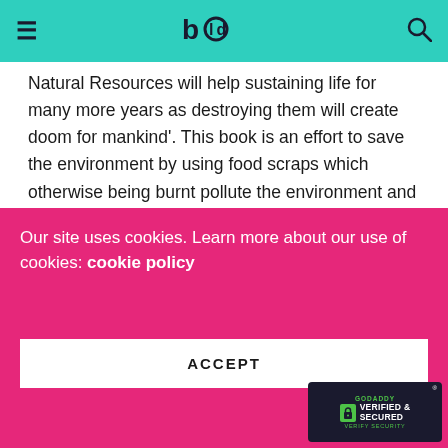BOLD
Natural Resources will help sustaining life for many more years as destroying them will create doom for mankind'. This book is an effort to save the environment by using food scraps which otherwise being burnt pollute the environment and this book will also help in solving the food problem for the developing countries like us and others with nutritive values.
About the Author
Chef Davinder Kumar's experience goes way beyond
Our site uses cookies. Learn more about our use of cookies: cookie policy
ACCEPT